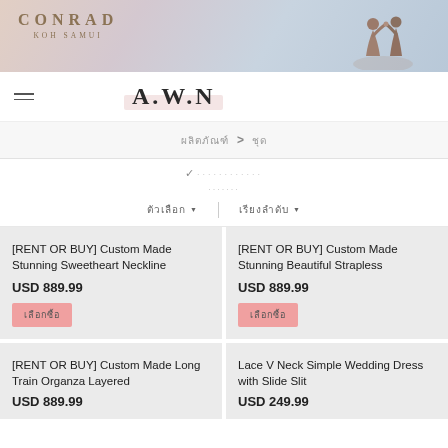[Figure (photo): Conrad Koh Samui hotel banner with logo on left and couple silhouette dancing at sunset on right]
AWN (navigation bar with hamburger menu and AWN logo)
ผลิตภัณฑ์ > ชุด (breadcrumb navigation)
Filter/sort controls with checkmark, dots, and dropdown menus
[RENT OR BUY] Custom Made Stunning Sweetheart Neckline
USD 889.99
[RENT OR BUY] Custom Made Stunning Beautiful Strapless
USD 889.99
[RENT OR BUY] Custom Made Long Train Organza Layered
USD 889.99
Lace V Neck Simple Wedding Dress with Slide Slit
USD 249.99